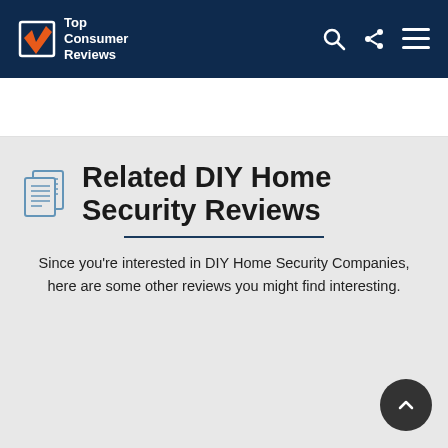Top Consumer Reviews
Related DIY Home Security Reviews
Since you're interested in DIY Home Security Companies, here are some other reviews you might find interesting.
[Figure (photo): Bottom image strip showing smart home security icons including router, cloud, and wifi symbols on a light blue background]